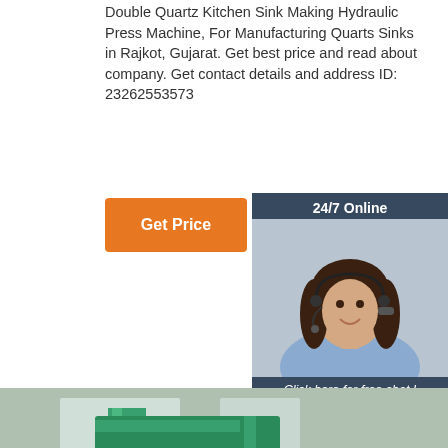Double Quartz Kitchen Sink Making Hydraulic Press Machine, For Manufacturing Quarts Sinks in Rajkot, Gujarat. Get best price and read about company. Get contact details and address ID: 23262553573
[Figure (other): Orange 'Get Price' button]
[Figure (photo): Customer service agent with headset, 24/7 Online panel with dark blue background, click here for free chat text, and orange QUOTATION button]
[Figure (photo): Large hydraulic press machine in industrial factory setting, green metal frame, with orange machinery at bottom]